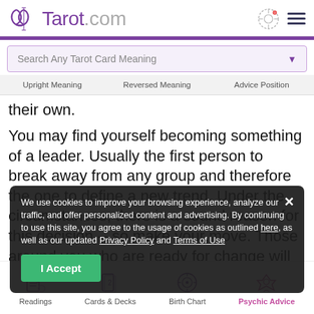Tarot.com
Search Any Tarot Card Meaning
Upright Meaning   Reversed Meaning   Advice Position
their own.
You may find yourself becoming something of a leader. Usually the first person to break away from any group and therefore the one to define a new trend. Under the circumstances, there is a sound reason for this decision -- so make your move. Those around you who are ready for change will support your leadership.
We use cookies to improve your browsing experience, analyze our traffic, and offer personalized content and advertising. By continuing to use this site, you agree to the usage of cookies as outlined here, as well as our updated Privacy Policy and Terms of Use
Readings   Cards & Decks   Birth Chart   Psychic Advice